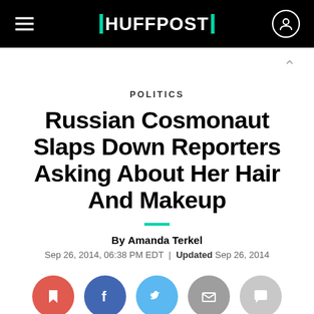HUFFPOST
POLITICS
Russian Cosmonaut Slaps Down Reporters Asking About Her Hair And Makeup
By Amanda Terkel
Sep 26, 2014, 06:38 PM EDT | Updated Sep 26, 2014
[Figure (infographic): Social sharing icons: bookmark (red), Facebook (blue), Twitter (light blue), email (gray), comment (light gray)]